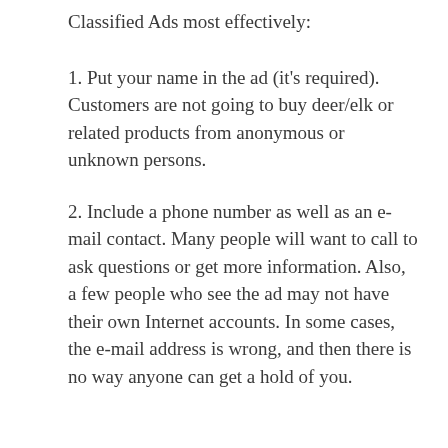Classified Ads most effectively:
1. Put your name in the ad (it's required). Customers are not going to buy deer/elk or related products from anonymous or unknown persons.
2. Include a phone number as well as an e-mail contact. Many people will want to call to ask questions or get more information. Also, a few people who see the ad may not have their own Internet accounts. In some cases, the e-mail address is wrong, and then there is no way anyone can get a hold of you.